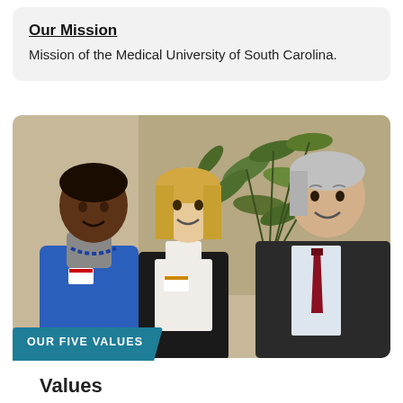Our Mission
Mission of the Medical University of South Carolina.
[Figure (photo): Three people posing together for a photo in an indoor setting with a plant in background. Left: a woman in a blue cardigan and gray turtleneck with a blue bead necklace and badge. Center: a blonde woman in a white top and black jacket with a badge. Right: an older man with gray hair in a dark suit and red tie.]
OUR FIVE VALUES
Values